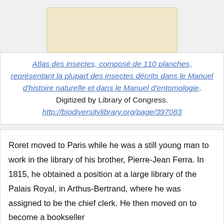[Figure (photo): Partial view of a yellowed book page or cover, cream/tan colored]
Atlas des insectes, composé de 110 planches, représentant la plupart des insectes décrits dans le Manuel d'histoire naturelle et dans le Manuel d'entomologie. Digitized by Library of Congress. http://biodiversitylibrary.org/page/397083
Roret moved to Paris while he was a still young man to work in the library of his brother, Pierre-Jean Ferra. In 1815, he obtained a position at a large library of the Palais Royal, in Arthus-Bertrand, where he was assigned to be the chief clerk. He then moved on to become a bookseller